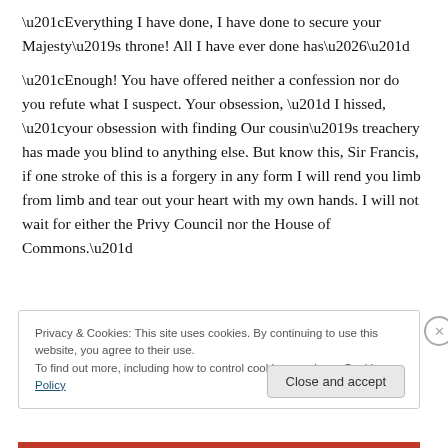“Everything I have done, I have done to secure your Majesty’s throne! All I have ever done has…”
“Enough! You have offered neither a confession nor do you refute what I suspect. Your obsession, ” I hissed, “your obsession with finding Our cousin’s treachery has made you blind to anything else. But know this, Sir Francis, if one stroke of this is a forgery in any form I will rend you limb from limb and tear out your heart with my own hands. I will not wait for either the Privy Council nor the House of Commons.”
Privacy & Cookies: This site uses cookies. By continuing to use this website, you agree to their use.
To find out more, including how to control cookies, see here: Cookie Policy
Close and accept